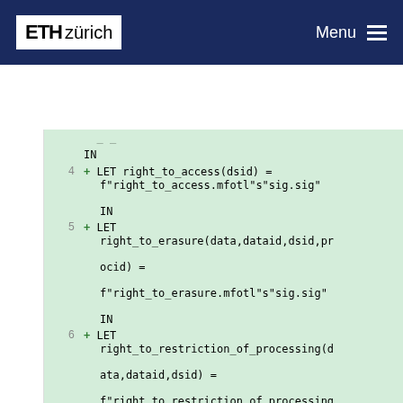ETH zürich  Menu
Code block showing LET bindings for right_to_access, right_to_erasure, right_to_restriction_of_processing, right_to_object, and lawful_processing functions in MFOTL specification